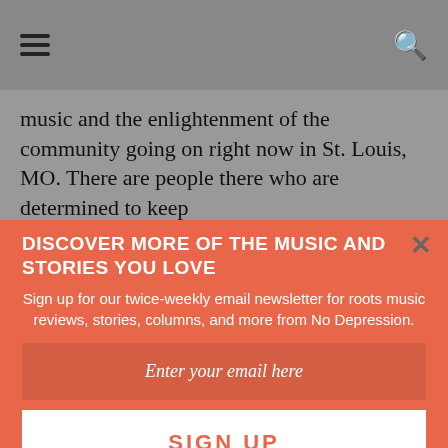[hamburger menu] [search icon]
music and the enlightenment of the community going on right now in St. Louis, MO. There are people there who are determined to keep
DISCOVER MORE OF THE MUSIC AND STORIES YOU LOVE
Sign up for our twice-weekly email newsletter for roots music reviews, stories, columns, and more from No Depression.
Enter your email here
SIGN UP
We respect your privacy and will never sell our email list to a third party.
(https://www.nodepression.com/profiles/blogs/meet-ryan-spearman-green-strumming-in-st-louis-with-folk-and), a nationally known touring singer/songwriter/multi/instrumentalist/multi-genre artist and Folk School instructor.